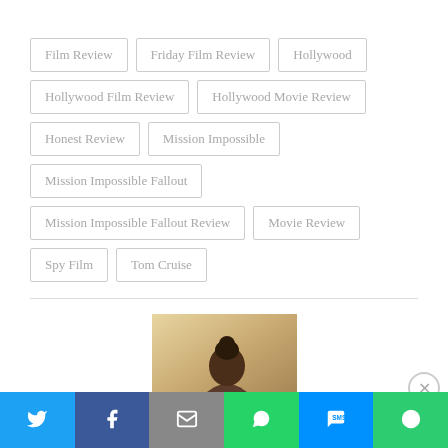Film Review
Friday Film Review
Hollywood
Hollywood Film Review
Hollywood Movie Review
Honest Review
Mission Impossible
Mission Impossible Fallout
Mission Impossible Fallout Review
Movie Review
Spy Film
Tom Cruise
[Figure (photo): Partial photo of a woman with hair up, warm background]
Advertisements
Twitter | Facebook | Email | WhatsApp | SMS | More